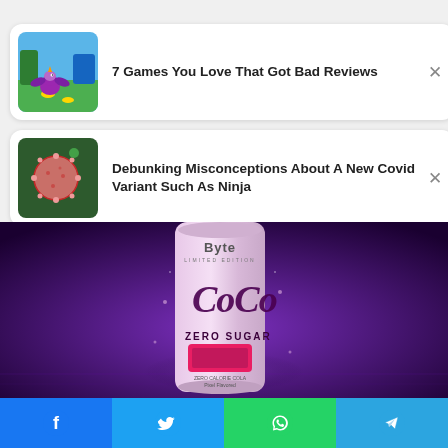[Figure (screenshot): Card with game screenshot thumbnail (Spyro character on green field) and title '7 Games You Love That Got Bad Reviews' with X close button]
7 Games You Love That Got Bad Reviews
[Figure (screenshot): Card with microscope image of Covid virus particle (pink sphere on dark background) and title 'Debunking Misconceptions About A New Covid Variant Such As Ninja' with X close button]
Debunking Misconceptions About A New Covid Variant Such As Ninja
[Figure (photo): Large image of Coca-Cola Byte Limited Edition Zero Sugar can (pink/purple) on purple glowing background]
[Figure (infographic): Bottom share bar with Facebook, Twitter, WhatsApp, and Telegram icons]